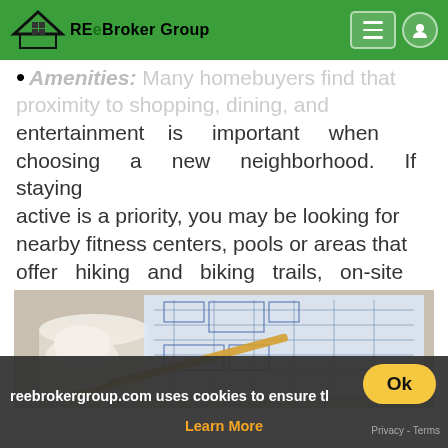REeBroker Group
Amenities: Many homebuyers find that proximity to shopping, dining, and entertainment is important when choosing a new neighborhood. If staying active is a priority, you may be looking for nearby fitness centers, pools or areas that offer hiking and biking trails, on-site playgrounds, and parks. These type of neighboring amenities will typically improve a home's value.
[Figure (photo): Rolled architectural blueprints/plans with a pencil, shown from above on a work surface]
reebrokergroup.com uses cookies to ensure the best experi
Learn More
Ok
Privacy - Terms